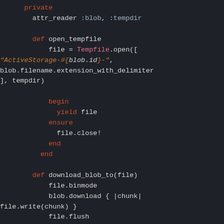[Figure (screenshot): Ruby source code snippet on dark background showing private method definitions including open_tempfile and download_blob_to with syntax highlighting]